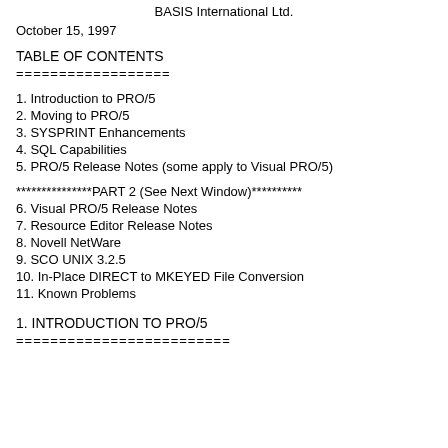BASIS International Ltd.
October 15, 1997
TABLE OF CONTENTS
==================
1. Introduction to PRO/5
2. Moving to PRO/5
3. SYSPRINT Enhancements
4. SQL Capabilities
5. PRO/5 Release Notes (some apply to Visual PRO/5)
***************PART 2 (See Next Window)**********
6. Visual PRO/5 Release Notes
7. Resource Editor Release Notes
8. Novell NetWare
9. SCO UNIX 3.2.5
10. In-Place DIRECT to MKEYED File Conversion
11. Known Problems
1. INTRODUCTION TO PRO/5
=========================